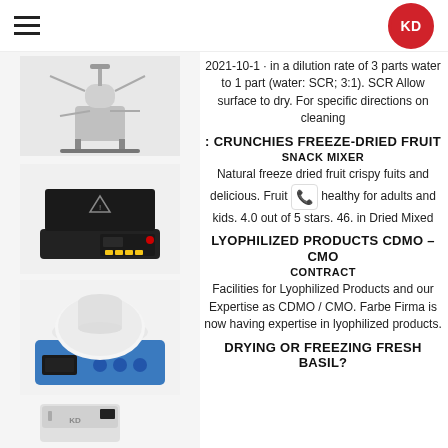KD (logo)
[Figure (photo): Laboratory bioreactor/fermentation equipment on stand with glass vessel and tubing]
2021-10-1 · in a dilution rate of 3 parts water to 1 part (water: SCR; 3:1). SCR Allow surface to dry. For specific directions on cleaning
: CRUNCHIES FREEZE-DRIED FRUIT SNACK MIXER
[Figure (photo): Digital precision weighing scale with black top plate and digital display]
Natural freeze dried fruit crispy fuits and delicious. Fruit healthy for adults and kids. 4.0 out of 5 stars. 46. in Dried Mixed
LYOPHILIZED PRODUCTS CDMO – CMO CONTRACT
[Figure (photo): Magnetic stirrer hotplate with white round flask on blue base unit with digital display]
Facilities for Lyophilized Products and our Expertise as CDMO / CMO. Farbe Firma is now having expertise in lyophilized products.
DRYING OR FREEZING FRESH BASIL?
[Figure (photo): Small white laboratory freeze dryer / lyophilizer machine]